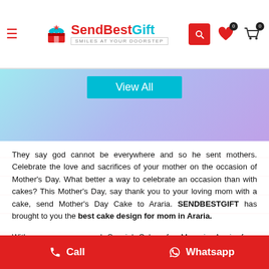[Figure (screenshot): SendBestGift website header with logo, hamburger menu, search icon, heart (0) and cart (0) icons]
[Figure (screenshot): Teal/purple gradient banner with 'View All' button]
They say god cannot be everywhere and so he sent mothers. Celebrate the love and sacrifices of your mother on the occasion of Mother's Day. What better a way to celebrate an occasion than with cakes? This Mother's Day, say thank you to your loving mom with a cake, send Mother's Day Cake to Araria. SENDBESTGIFT has brought to you the best cake design for mom in Araria.
With us, you can send Special Cakes for Mom in Araria from anywhere in the world. Yes, now you can send mother's day special cakes even from other counties. Our varied range of cakes includes pineapple cakes, strawberry cakes, special heart shape cake, white forest cakes, black forest cake and everything else.
... the centre of attraction for ... person of your life- you mom must not be overlooked. Order special cakes for mom in
[Figure (screenshot): Bottom bar with red Call and Whatsapp buttons]